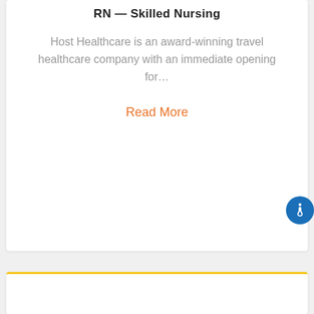RN — Skilled Nursing
Host Healthcare is an award-winning travel healthcare company with an immediate opening for...
Read More
[Figure (other): Accessibility icon button (blue circle with person/wheelchair symbol)]